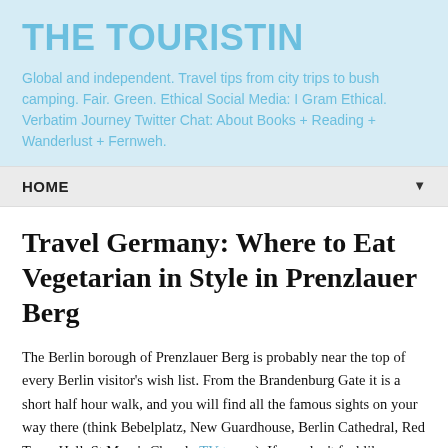THE TOURISTIN
Global and independent. Travel tips from city trips to bush camping. Fair. Green. Ethical Social Media: I Gram Ethical. Verbatim Journey Twitter Chat: About Books + Reading + Wanderlust + Fernweh.
HOME ▼
Travel Germany: Where to Eat Vegetarian in Style in Prenzlauer Berg
The Berlin borough of Prenzlauer Berg is probably near the top of every Berlin visitor's wish list. From the Brandenburg Gate it is a short half hour walk, and you will find all the famous sights on your way there (think Bebelplatz, New Guardhouse, Berlin Cathedral, Red Town Hall, St Mary's Church, TV-tower). If you don't feel like walking take the U2 and get off at either Senefelder Platz or Eberswalder Strasse. Somebody